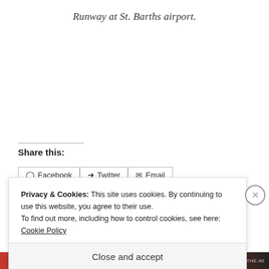Runway at St. Barths airport.
Share this:
Facebook  Twitter  Email
Privacy & Cookies: This site uses cookies. By continuing to use this website, you agree to their use.
To find out more, including how to control cookies, see here: Cookie Policy
Close and accept